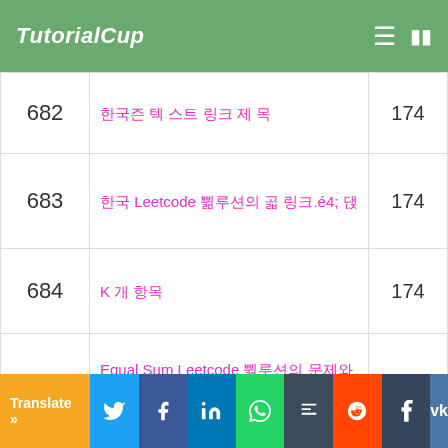TutorialCup
| # | Title | Views |
| --- | --- | --- |
| 682 | 한국어 텍스트 링크 제목 | 174 |
| 683 | 한국 Leetcode 솔루션의 여러 링크들 | 174 |
| 684 | K 개 항목 | 174 |
| 685 | Equal Sum Leetcode 솔루션의 문제와 솔루션 설명 | 173 |
| 686 | 두 개 Leetcode 솔루션의 링크 제목 텍스트 | 173 |
| 687 | 수학 문제 Leetcode 솔루션의 링크 제목 텍스트 | 173 |
| 688 | 한국 문제 LeetCode 솔루션 | 173 |